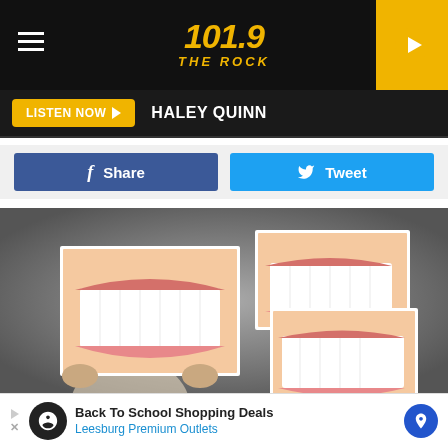101.9 THE ROCK
LISTEN NOW  HALEY QUINN
Share  Tweet
[Figure (photo): Two people holding up printed photos of big smiling mouths in front of their faces, with a third smiling mouth photo visible. Gray background.]
Back To School Shopping Deals  Leesburg Premium Outlets